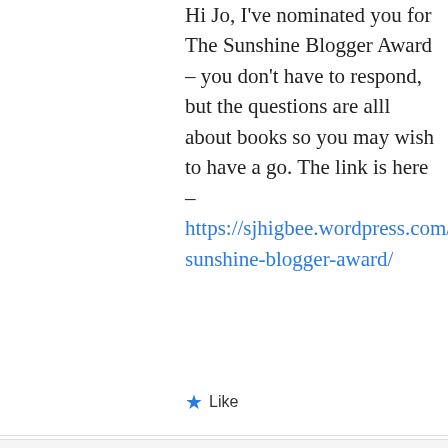Hi Jo, I've nominated you for The Sunshine Blogger Award – you don't have to respond, but the questions are alll about books so you may wish to have a go. The link is here – https://sjhigbee.wordpress.com/2016/11/17/the-sunshine-blogger-award/
★ Like
Log in to Reply
Cathy on December 16, 2016 at 16:31
Privacy & Cookies: This site uses cookies. By continuing to use this website, you agree to their use. To find out more, including how to control cookies, see here: Cookie Policy
Close and accept